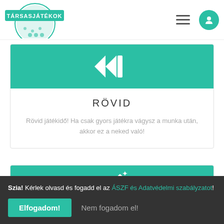TÁRSASJÁTÉKOK (logo, hamburger menu, login button)
[Figure (logo): Circular board games logo with 'TÁRSASJÁTÉKOK' text banner, teal/green color]
[Figure (illustration): Teal card with white fast-forward skip icon (double right arrows)]
RÖVID
Rövid játékidő! Ha csak gyors játékra vágysz a munka után, akkor ez a neked való!
[Figure (illustration): Teal card with white magic wand icon with sparkles]
Szia! Kérlek olvasd és fogadd el az ÁSZF és Adatvédelmi szabályzatot!
Elfogadom!
Nem fogadom el!